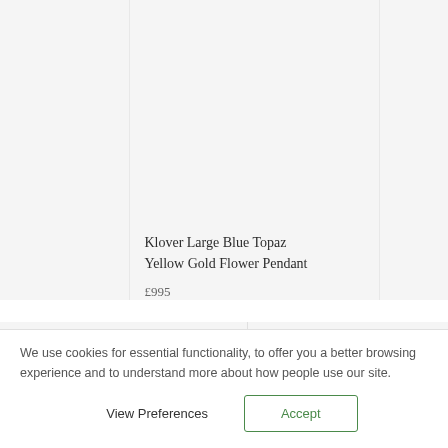[Figure (photo): Product image area for Klover Large Blue Topaz Yellow Gold Flower Pendant — top section showing partial product card with light grey background]
Klover Large Blue Topaz Yellow Gold Flower Pendant
£995
[Figure (photo): Two partially visible product image cards in a grid layout, light grey backgrounds]
We use cookies for essential functionality, to offer you a better browsing experience and to understand more about how people use our site.
View Preferences
Accept